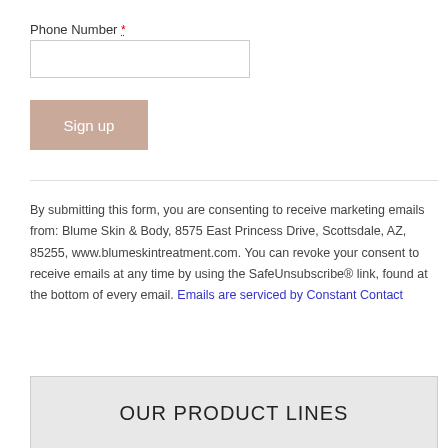Phone Number *
[Figure (other): Phone number text input field (empty)]
[Figure (other): Sign up button, mauve/rose color]
By submitting this form, you are consenting to receive marketing emails from: Blume Skin & Body, 8575 East Princess Drive, Scottsdale, AZ, 85255, www.blumeskintreatment.com. You can revoke your consent to receive emails at any time by using the SafeUnsubscribe® link, found at the bottom of every email. Emails are serviced by Constant Contact
OUR PRODUCT LINES